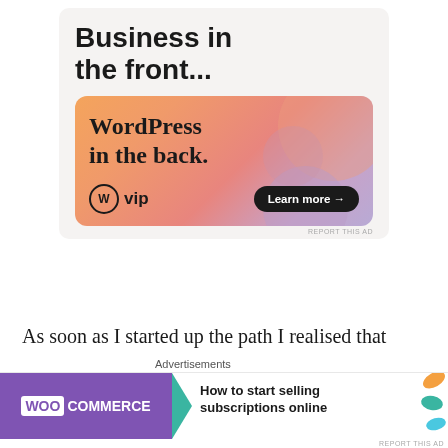[Figure (illustration): WordPress VIP advertisement banner. Top section on light gray background shows headline 'Business in the front...' in bold black. Bottom section shows colorful gradient orange-to-pink-to-purple banner with text 'WordPress in the back.' and WordPress VIP logo on left, 'Learn more →' button on right.]
As soon as I started up the path I realised that the guide wasn't kidding. It was definitely a steep one!
[Figure (illustration): WooCommerce advertisement. Left purple section shows WooCommerce logo with teal arrow pointing right. Right white section shows text 'How to start selling subscriptions online' with colorful leaf shapes on right side.]